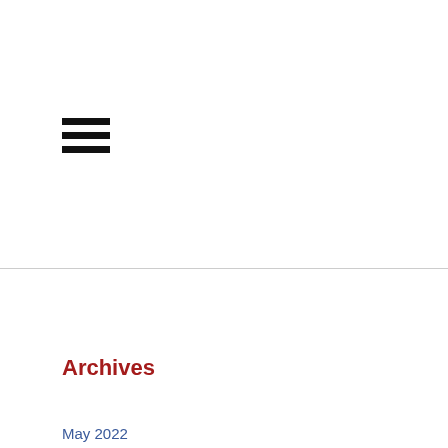[Figure (other): Hamburger menu icon with three horizontal black bars]
Archives
May 2022
April 2022
March 2022
February 2022
January 2022
December 2021
November 2021
October 2021
September 2021
August 2021
July 2021
June 2021
May 2021
April 2021